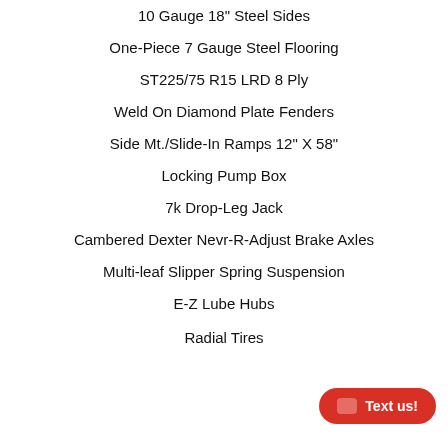10 Gauge 18" Steel Sides
One-Piece 7 Gauge Steel Flooring
ST225/75 R15 LRD 8 Ply
Weld On Diamond Plate Fenders
Side Mt./Slide-In Ramps 12" X 58"
Locking Pump Box
7k Drop-Leg Jack
Cambered Dexter Nevr-R-Adjust Brake Axles
Multi-leaf Slipper Spring Suspension
E-Z Lube Hubs
Radial Tires